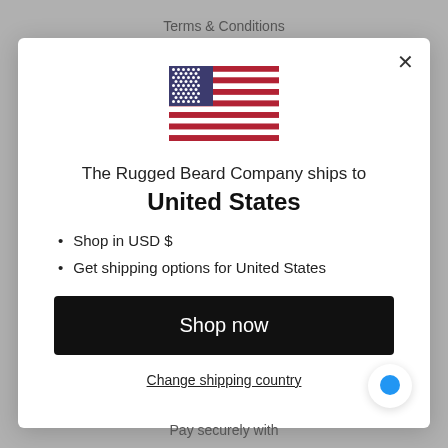Terms & Conditions
[Figure (illustration): US flag SVG illustration]
The Rugged Beard Company ships to
United States
Shop in USD $
Get shipping options for United States
Shop now
Change shipping country
Pay securely with